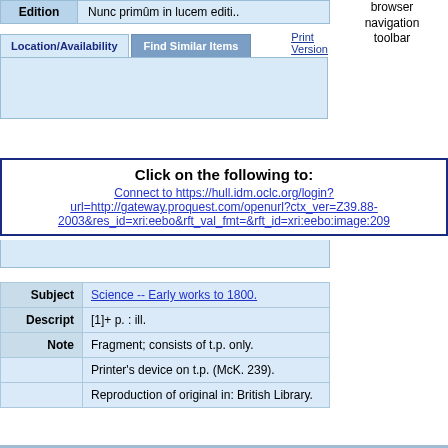| Field | Value |
| --- | --- |
| Edition | Nunc primûm in lucem editi.. |
Location/Availability | Find Similar Items
Print Version
Click on the following to:
Connect to https://hull.idm.oclc.org/login?url=http://gateway.proquest.com/openurl?ctx_ver=Z39.88-2003&res_id=xri:eebo&rft_val_fmt=&rft_id=xri:eebo:image:209
browser navigation toolbar
| Field | Value |
| --- | --- |
| Subject | Science -- Early works to 1800. |
| Descript | [1]+ p. : ill. |
| Note | Fragment; consists of t.p. only. |
|  | Printer's device on t.p. (McK. 239). |
|  | Reproduction of original in: British Library. |